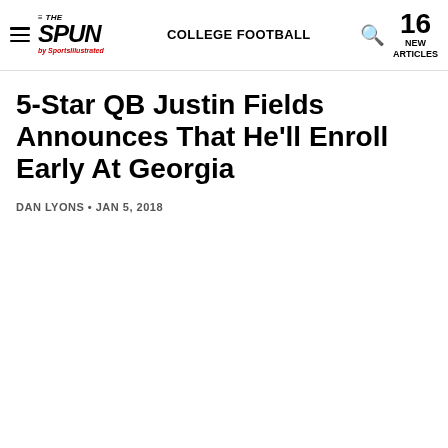THE SPUN by Sports Illustrated | COLLEGE FOOTBALL | 16 NEW ARTICLES
5-Star QB Justin Fields Announces That He'll Enroll Early At Georgia
DAN LYONS • JAN 5, 2018